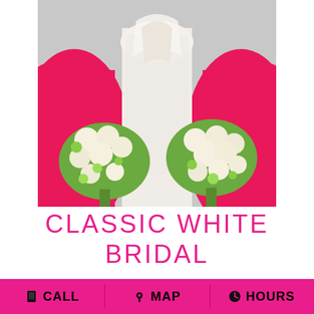[Figure (photo): A bride in a white lace strapless wedding dress flanked by two bridesmaids in bright pink/fuchsia dresses, all holding large white floral bouquets with green accents. Only the torsos and dresses are visible, not the faces.]
CLASSIC WHITE BRIDAL
CALL   MAP   HOURS